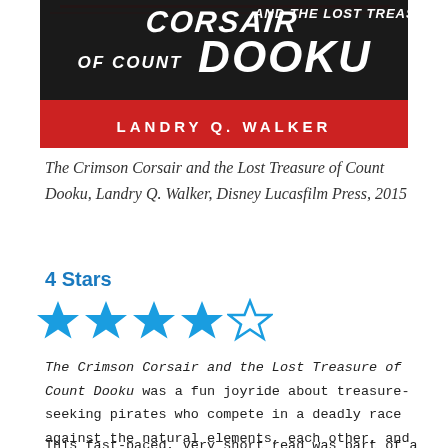[Figure (illustration): Book cover of 'The Crimson Corsair and the Lost Treasure of Count Dooku' by Landry Q. Walker, Disney Lucasfilm Press, 2015. Dark background with bold italic white text and a red bar showing the author name.]
The Crimson Corsair and the Lost Treasure of Count Dooku, Landry Q. Walker, Disney Lucasfilm Press, 2015
4 Stars
[Figure (other): 4 out of 5 stars rating: four filled blue stars and one empty star outline]
The Crimson Corsair and the Lost Treasure of Count Dooku was a fun joyride about treasure-seeking pirates who compete in a deadly race against the natural elements, each other, and time.
This fast-paced, very short read was part of a series of